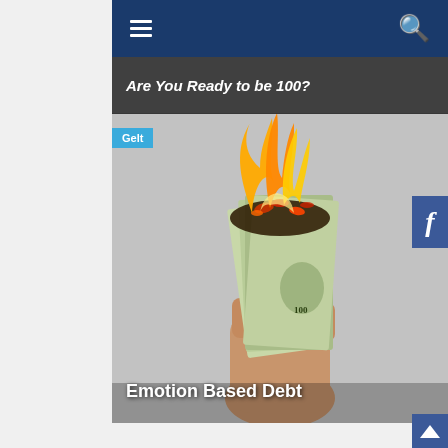[Figure (screenshot): Website navigation bar with dark blue background, hamburger menu icon on left and search icon on right]
Are You Ready to be 100?
[Figure (photo): A hand holding a bundle of $100 bills that are on fire, burning with flames and embers, against a grey background]
Gelt
Emotion Based Debt